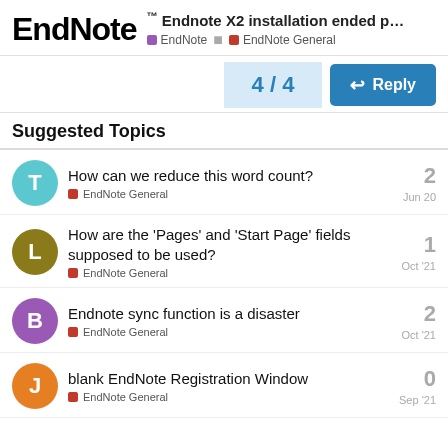EndNote™ Endnote X2 installation ended p... EndNote • EndNote General
4 / 4
Reply
Suggested Topics
How can we reduce this word count? | EndNote General | Jun 20 | 2
How are the 'Pages' and 'Start Page' fields supposed to be used? | EndNote General | Oct '21 | 1
Endnote sync function is a disaster | EndNote General | Oct '21 | 2
blank EndNote Registration Window | EndNote General | Sep '21 | 0